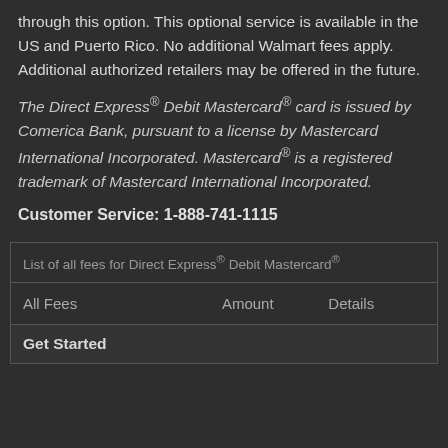through this option. This optional service is available in the US and Puerto Rico. No additional Walmart fees apply. Additional authorized retailers may be offered in the future.
The Direct Express® Debit Mastercard® card is issued by Comerica Bank, pursuant to a license by Mastercard International Incorporated. Mastercard® is a registered trademark of Mastercard International Incorporated.
Customer Service: 1-888-741-1115
| List of all fees for Direct Express® Debit Mastercard® |
| --- |
| All Fees | Amount | Details |
| Get Started |  |  |